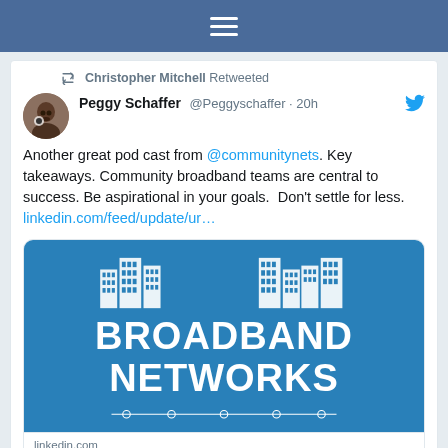Twitter mobile navigation bar
Christopher Mitchell Retweeted
Peggy Schaffer @Peggyschaffer · 20h
Another great pod cast from @communitynets. Key takeaways. Community broadband teams are central to success. Be aspirational in your goals.  Don't settle for less.
linkedin.com/feed/update/ur…
[Figure (logo): Broadband Networks logo with building icons and the text BROADBAND NETWORKS in blue, with a decorative dot-and-line border below]
linkedin.com
Christopher Mitchell on LinkedIn: The